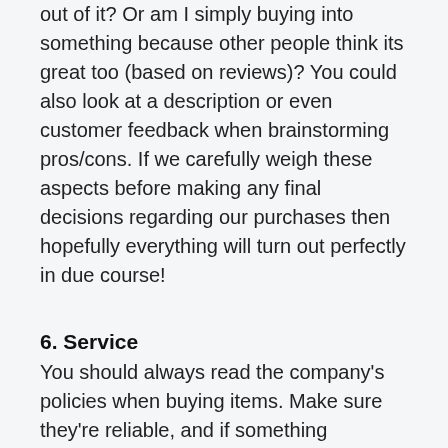out of it? Or am I simply buying into something because other people think its great too (based on reviews)? You could also look at a description or even customer feedback when brainstorming pros/cons. If we carefully weigh these aspects before making any final decisions regarding our purchases then hopefully everything will turn out perfectly in due course!
6. Service
You should always read the company's policies when buying items. Make sure they're reliable, and if something happens down the line- will you still be able to get help?
7. Warranty
In the end, a warranty is important for any major